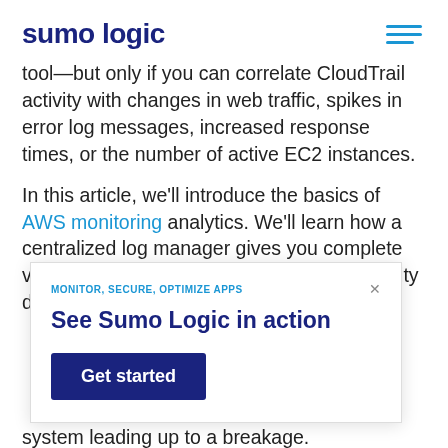sumo logic
tool—but only if you can correlate CloudTrail activity with changes in web traffic, spikes in error log messages, increased response times, or the number of active EC2 instances.
In this article, we'll introduce the basics of AWS monitoring analytics. We'll learn how a centralized log manager gives you complete visibility into your full AWS stack. This visibility dramatically reduces ... bleshoot a ... d of wasting ... tware bugs in all ... issues quickly and ... at occurred in your system leading up to a breakage.
MONITOR, SECURE, OPTIMIZE APPS
See Sumo Logic in action
Get started